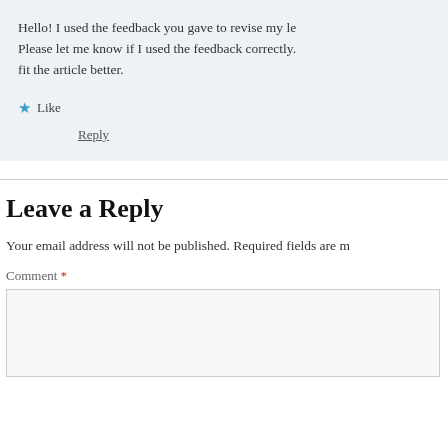Hello! I used the feedback you gave to revise my le… Please let me know if I used the feedback correctly. fit the article better.
★ Like
Reply
Leave a Reply
Your email address will not be published. Required fields are m…
Comment *